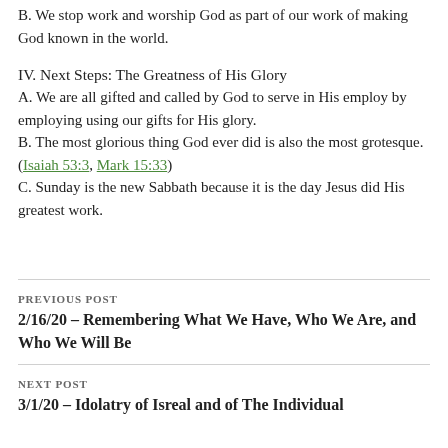B. We stop work and worship God as part of our work of making God known in the world.
IV. Next Steps: The Greatness of His Glory
A. We are all gifted and called by God to serve in His employ by employing using our gifts for His glory.
B. The most glorious thing God ever did is also the most grotesque. (Isaiah 53:3, Mark 15:33)
C. Sunday is the new Sabbath because it is the day Jesus did His greatest work.
PREVIOUS POST
2/16/20 – Remembering What We Have, Who We Are, and Who We Will Be
NEXT POST
3/1/20 – Idolatry of Isreal and of The Individual